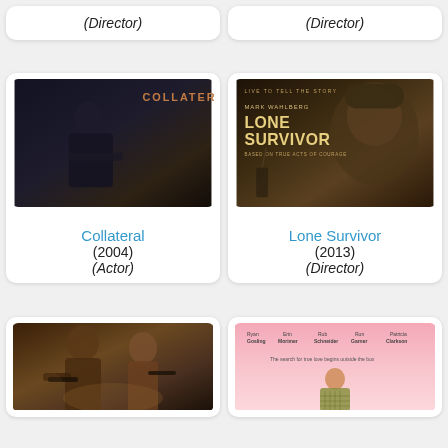(Director)
(Director)
[Figure (photo): Movie poster for Collateral (2004) showing a man in dark suit]
Collateral
(2004)
(Actor)
[Figure (photo): Movie poster for Lone Survivor (2013) showing a soldier's face]
Lone Survivor
(2013)
(Director)
[Figure (photo): Movie poster showing two action figures]
[Figure (photo): Movie poster with pink background showing a man standing]